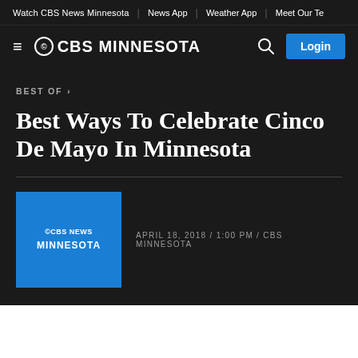Watch CBS News Minnesota | News App | Weather App | Meet Our Te
[Figure (logo): CBS Minnesota logo with hamburger menu, search icon, and Login button on dark background]
BEST OF >
Best Ways To Celebrate Cinco De Mayo In Minnesota
APRIL 18, 2018 / 1:00 PM / CBS MINNESOTA
[Figure (logo): CBS News Minnesota blue square logo]